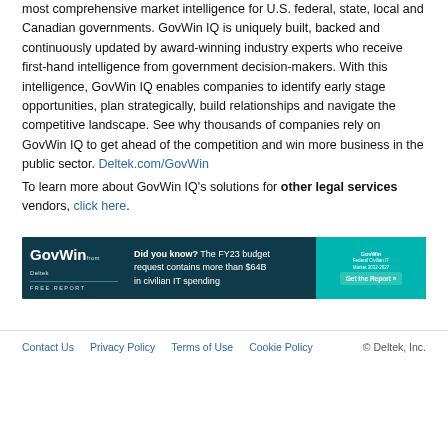most comprehensive market intelligence for U.S. federal, state, local and Canadian governments. GovWin IQ is uniquely built, backed and continuously updated by award-winning industry experts who receive first-hand intelligence from government decision-makers. With this intelligence, GovWin IQ enables companies to identify early stage opportunities, plan strategically, build relationships and navigate the competitive landscape. See why thousands of companies rely on GovWin IQ to get ahead of the competition and win more business in the public sector. Deltek.com/GovWin
To learn more about GovWin IQ's solutions for other legal services vendors, click here.
[Figure (infographic): GovWin from Deltek Free Report banner ad. Text: Did you know? The FY23 budget request contains more than $64B in civilian IT spending. Button: Get the Report »]
Contact Us  Privacy Policy  Terms of Use  Cookie Policy  © Deltek, Inc.